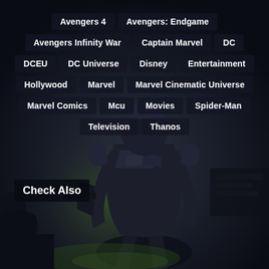Avengers 4
Avengers: Endgame
Avengers Infinity War
Captain Marvel
DC
DCEU
DC Universe
Disney
Entertainment
Hollywood
Marvel
Marvel Cinematic Universe
Marvel Comics
Mcu
Movies
Spider-Man
Television
Thanos
Check Also
[Figure (illustration): Dark armored superhero/warrior figure silhouette against a smoky, dark background with green glowing elements]